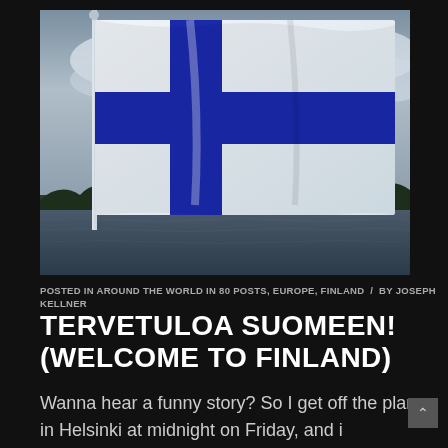[Figure (photo): Photo of the Finnish flag (white with blue Nordic cross) waving on a flagpole against a cloudy sky with water and treeline in the background.]
POSTED IN AROUND THE WORLD IN 80 POSTS, EUROPE, FINLAND / BY JOSEPH KELLNER
TERVETULOA SUOMEEN! (WELCOME TO FINLAND)
Wanna hear a funny story? So I get off the plane in Helsinki at midnight on Friday, and i